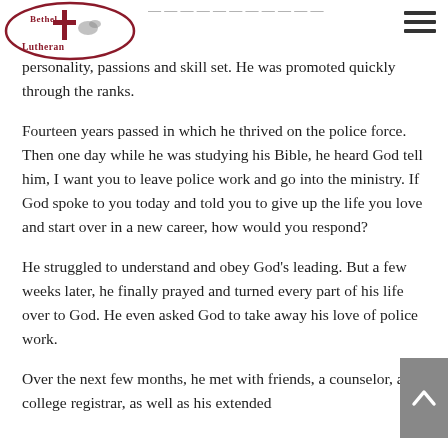Bethel Lutheran
personality, passions and skill set. He was promoted quickly through the ranks.
Fourteen years passed in which he thrived on the police force. Then one day while he was studying his Bible, he heard God tell him, I want you to leave police work and go into the ministry. If God spoke to you today and told you to give up the life you love and start over in a new career, how would you respond?
He struggled to understand and obey God's leading. But a few weeks later, he finally prayed and turned every part of his life over to God. He even asked God to take away his love of police work.
Over the next few months, he met with friends, a counselor, a college registrar, as well as his extended